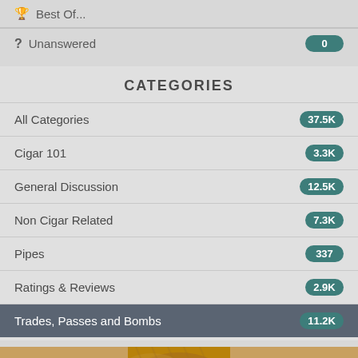Best Of...
Unanswered  0
CATEGORIES
All Categories  37.5K
Cigar 101  3.3K
General Discussion  12.5K
Non Cigar Related  7.3K
Pipes  337
Ratings & Reviews  2.9K
Trades, Passes and Bombs  11.2K
[Figure (photo): Close-up photo of cigars, brown/tan tones, partially visible at bottom of page]